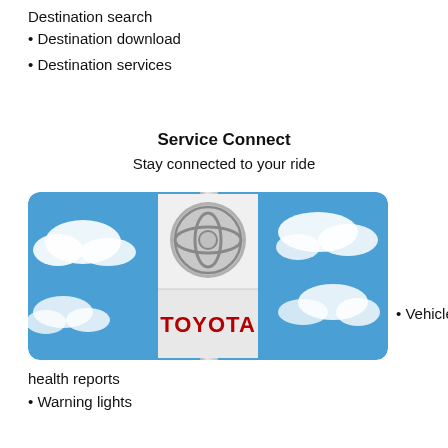Destination search
Destination download
Destination services
Service Connect
Stay connected to your ride
[Figure (photo): Toyota dealership sign with logo and TOYOTA text against a blue sky with clouds]
Vehicle
health reports
Warning lights